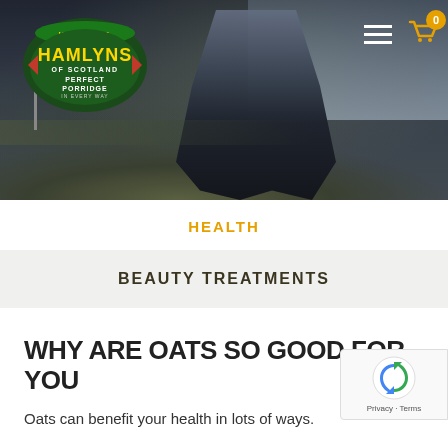[Figure (photo): Hero banner photo showing hiking boots/legs on a mossy rock with an outdoor landscape background. Hamlyns of Scotland logo visible top left. Hamburger menu and cart icon top right.]
HEALTH
BEAUTY TREATMENTS
WHY ARE OATS SO GOOD FOR YOU
Oats can benefit your health in lots of ways.